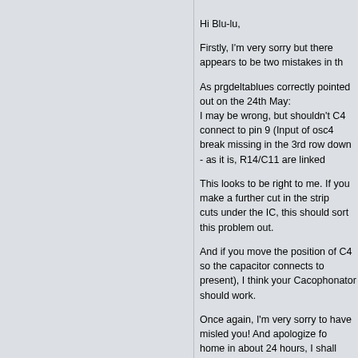Hi Blu-lu,

Firstly, I'm very sorry but there appears to be two mistakes in the

As prgdeltablues correctly pointed out on the 24th May:
I may be wrong, but shouldn't C4 connect to pin 9 (Input of osc4
break missing in the 3rd row down - as it is, R14/C11 are linked

This looks to be right to me. If you make a further cut in the strip
cuts under the IC, this should sort this problem out.

And if you move the position of C4 so the capacitor connects to
present), I think your Cacophonator should work.

Once again, I'm very sorry to have misled you! And apologize fo
home in about 24 hours, I shall double check this and correct th

Steve
Back to top
blue_lu
Posted: Wed Jun 16, 2010 7:04 am    Post subject:
steve got the pm :)
Joined: Nov 16, 2009
Posts: 22